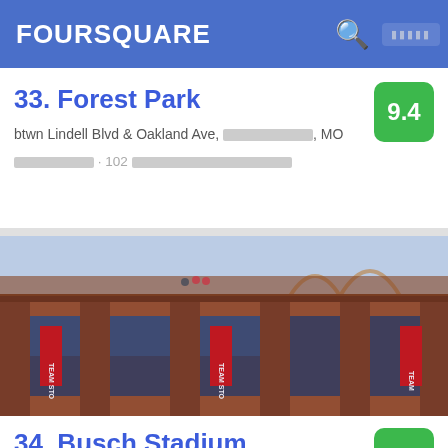FOURSQUARE
33. Forest Park
btwn Lindell Blvd & Oakland Ave, [redacted], MO
[redacted] · 102 [redacted]
[Figure (photo): Exterior photo of Busch Stadium showing red brick arches and columns with Team Store banners]
34. Busch Stadium
700 Clark Ave (btwn Broadway & 8th St), [redacted], MO
[redacted] · Downtown East · 412 [redacted]